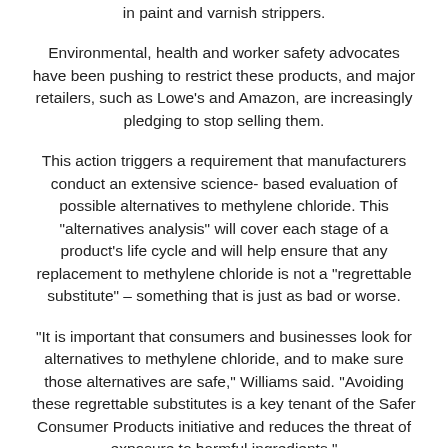in paint and varnish strippers.
Environmental, health and worker safety advocates have been pushing to restrict these products, and major retailers, such as Lowe’s and Amazon, are increasingly pledging to stop selling them.
This action triggers a requirement that manufacturers conduct an extensive science- based evaluation of possible alternatives to methylene chloride. This “alternatives analysis” will cover each stage of a product’s life cycle and will help ensure that any replacement to methylene chloride is not a “regrettable substitute” – something that is just as bad or worse.
“It is important that consumers and businesses look for alternatives to methylene chloride, and to make sure those alternatives are safe,” Williams said. “Avoiding these regrettable substitutes is a key tenant of the Safer Consumer Products initiative and reduces the threat of exposure to harmful ingredients.”
DTSC will host a workshop on the alternatives